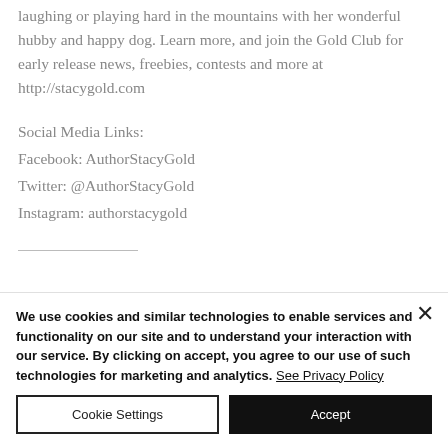laughing or playing hard in the mountains with her wonderful hubby and happy dog. Learn more, and join the Gold Club for early release news, freebies, contests and more at http://stacygold.com
Social Media Links:
Facebook: AuthorStacyGold
Twitter: @AuthorStacyGold
Instagram: authorstacygold
We use cookies and similar technologies to enable services and functionality on our site and to understand your interaction with our service. By clicking on accept, you agree to our use of such technologies for marketing and analytics. See Privacy Policy
Cookie Settings
Accept